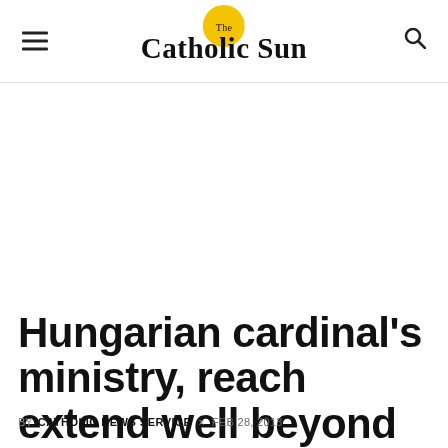The Catholic Sun
Hungarian cardinal's ministry, reach extend well beyond Europe
BY CATHOLIC NEWS SERVICE · FEB 28, 2013